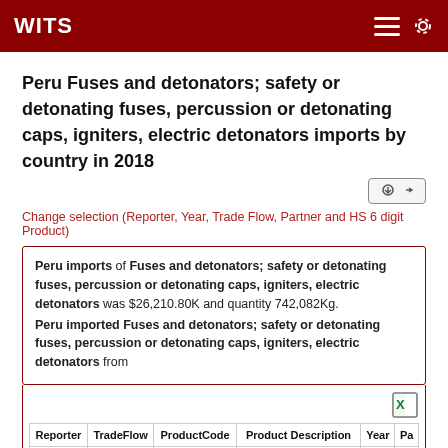WITS
Peru Fuses and detonators; safety or detonating fuses, percussion or detonating caps, igniters, electric detonators imports by country in 2018
Change selection (Reporter, Year, Trade Flow, Partner and HS 6 digit Product)
Peru imports of Fuses and detonators; safety or detonating fuses, percussion or detonating caps, igniters, electric detonators was $26,210.80K and quantity 742,082Kg.
Peru imported Fuses and detonators; safety or detonating fuses, percussion or detonating caps, igniters, electric detonators from
| Reporter | TradeFlow | ProductCode | Product Description | Year | Pa |
| --- | --- | --- | --- | --- | --- |
|  |  |  | Fuses and detonators; |  |  |